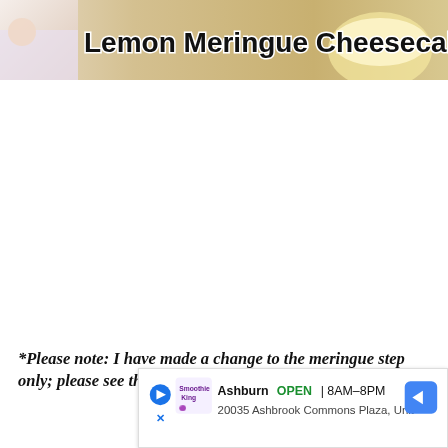[Figure (photo): Hero image for Lemon Meringue Cheesecake recipe with text title overlay on food/person background]
*Please note: I have made a change to the meringue step only; please see the revised version in the recipe box be...
[Figure (other): Ad banner: Smoothie King, Ashburn OPEN 8AM-8PM, 20035 Ashbrook Commons Plaza, Unit]